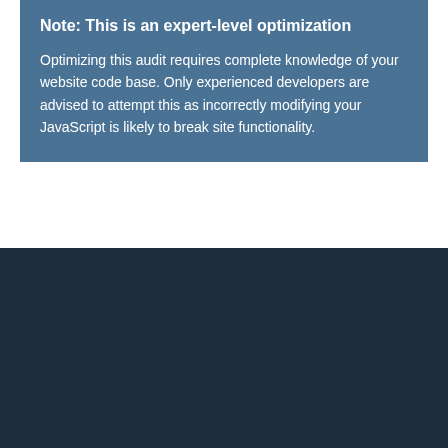Note: This is an expert-level optimization

Optimizing this audit requires complete knowledge of your website code base. Only experienced developers are advised to attempt this as incorrectly modifying your JavaScript is likely to break site functionality.
Summary
[Figure (screenshot): Cookie Policy modal overlay with title 'Cookie Policy', body text, close button, Deny and Allow All buttons]
Difficulty
Official Lighthouse Documentation